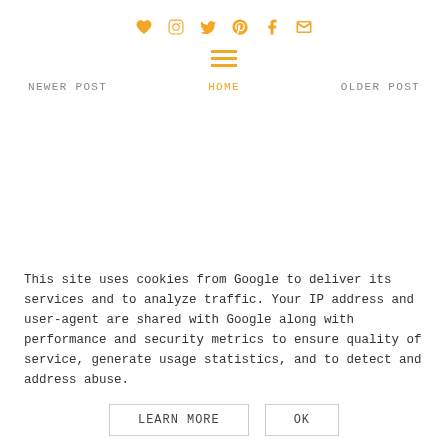Social icons row: heart, instagram, twitter, pinterest, facebook, mail
Hamburger menu icon
NEWER POST   HOME   OLDER POST
This site uses cookies from Google to deliver its services and to analyze traffic. Your IP address and user-agent are shared with Google along with performance and security metrics to ensure quality of service, generate usage statistics, and to detect and address abuse.
LEARN MORE   OK